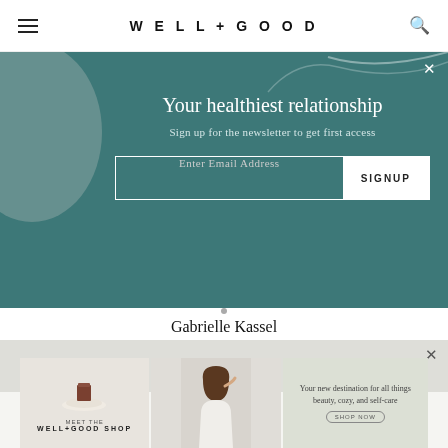WELL+GOOD
Your healthiest relationship
Sign up for the newsletter to get first access
Enter Email Address   SIGNUP
Gabrielle Kassel
Updated March 21, 2022
[Figure (screenshot): Well+Good Shop advertisement banner showing three panels: a product on a plate, a woman touching her hair, and text reading 'Your new destination for all things beauty, cozy, and self-care' with a SHOP NOW button]